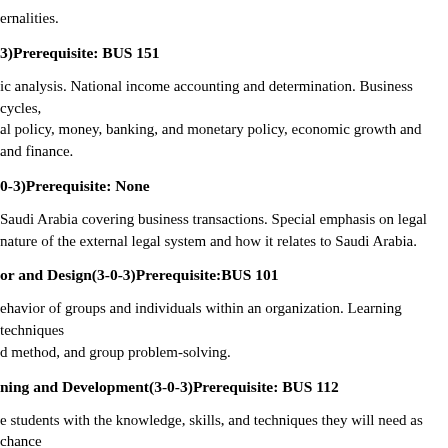ernalities.
3)Prerequisite: BUS 151
ic analysis. National income accounting and determination. Business cycles, al policy, money, banking, and monetary policy, economic growth and and finance.
0-3)Prerequisite: None
Saudi Arabia covering business transactions. Special emphasis on legal nature of the external legal system and how it relates to Saudi Arabia.
or and Design(3-0-3)Prerequisite:BUS 101
ehavior of groups and individuals within an organization. Learning techniques d method, and group problem-solving.
ning and Development(3-0-3)Prerequisite: BUS 112
e students with the knowledge, skills, and techniques they will need as chance ange in organization. Topics include team building, sensitive training, survey n, managerial grids, etc, current trends in management, and possible future administration.